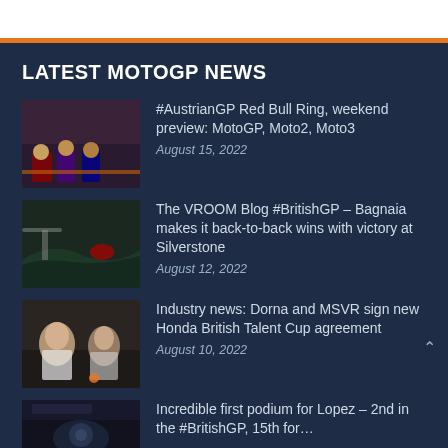LATEST MOTOGP NEWS
#AustrianGP Red Bull Ring, weekend preview: MotoGP, Moto2, Moto3
August 15, 2022
The VROOM Blog #BritishGP – Bagnaia makes it back-to-back wins with victory at Silverstone
August 12, 2022
Industry news: Dorna and MSVR sign new Honda British Talent Cup agreement
August 10, 2022
Incredible first podium for Lopez – 2nd in the #BritishGP, 15th for…